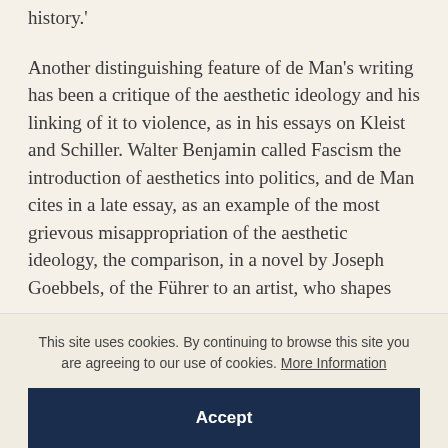history.'
Another distinguishing feature of de Man's writing has been a critique of the aesthetic ideology and his linking of it to violence, as in his essays on Kleist and Schiller. Walter Benjamin called Fascism the introduction of aesthetics into politics, and de Man cites in a late essay, as an example of the most grievous misappropriation of the aesthetic ideology, the comparison, in a novel by Joseph Goebbels, of the Führer to an artist, who shapes
This site uses cookies. By continuing to browse this site you are agreeing to our use of cookies. More Information
Accept